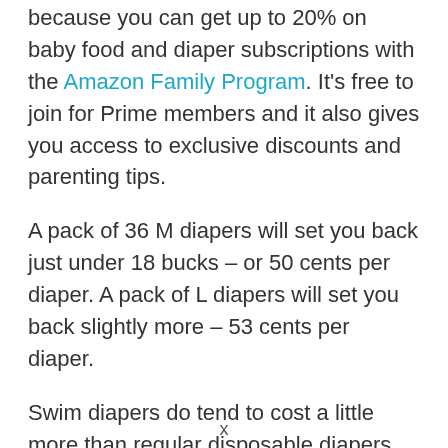because you can get up to 20% on baby food and diaper subscriptions with the Amazon Family Program. It's free to join for Prime members and it also gives you access to exclusive discounts and parenting tips.
A pack of 36 M diapers will set you back just under 18 bucks – or 50 cents per diaper. A pack of L diapers will set you back slightly more – 53 cents per diaper.
Swim diapers do tend to cost a little more than regular disposable diapers, but it's not a bad price.
x